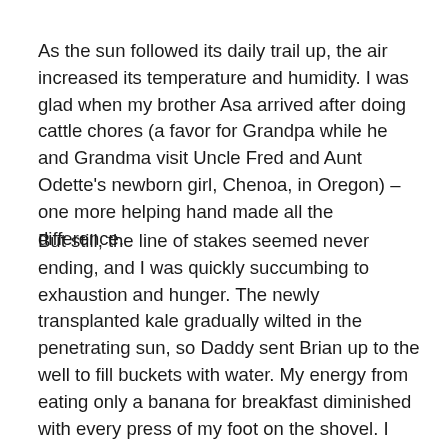As the sun followed its daily trail up, the air increased its temperature and humidity. I was glad when my brother Asa arrived after doing cattle chores (a favor for Grandpa while he and Grandma visit Uncle Fred and Aunt Odette's newborn girl, Chenoa, in Oregon) – one more helping hand made all the difference.
But still, the line of stakes seemed never ending, and I was quickly succumbing to exhaustion and hunger. The newly transplanted kale gradually wilted in the penetrating sun, so Daddy sent Brian up to the well to fill buckets with water. My energy from eating only a banana for breakfast diminished with every press of my foot on the shovel. I began to wonder if we would be done in time for my graduation ceremony.